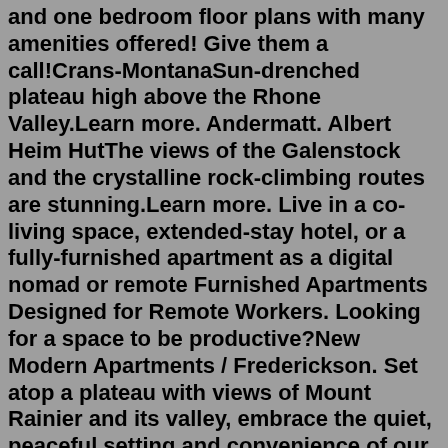and one bedroom floor plans with many amenities offered! Give them a call!Crans-MontanaSun-drenched plateau high above the Rhone Valley.Learn more. Andermatt. Albert Heim HutThe views of the Galenstock and the crystalline rock-climbing routes are stunning.Learn more. Live in a co-living space, extended-stay hotel, or a fully-furnished apartment as a digital nomad or remote Furnished Apartments Designed for Remote Workers. Looking for a space to be productive?New Modern Apartments / Frederickson. Set atop a plateau with views of Mount Rainier and its valley, embrace the quiet, peaceful setting and convenience of our distinctive floor plans, ranging from 665 to 1,053 square feet. Plateau 176's soothing custom color schemes, top-level amenities, and state-of-the-art lighting combined with spacious indoors and private balconies/patios inspire stylish living in these brand-new apartments. Explore Plateau in Cleveland, OH. With a location on Cedar Rd in Cleveland's Cedar Fairmount area, local residents can easily connect with a number of